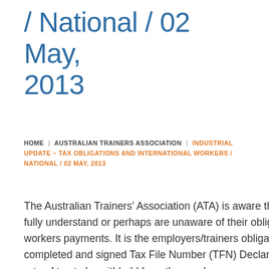/ National / 02 May, 2013
HOME | AUSTRALIAN TRAINERS ASSOCIATION | INDUSTRIAL UPDATE – TAX OBLIGATIONS AND INTERNATIONAL WORKERS / NATIONAL / 02 MAY, 2013
The Australian Trainers' Association (ATA) is aware that some trainers employing international workers may not fully understand or perhaps are unaware of their obligations to withhold the appropriate tax from international workers payments. It is the employers/trainers obligation to ensure that every employee supplies them with a completed and signed Tax File Number (TFN) Declaration form. It is from this information that the appropriate rate of tax to be withheld from the employees pay can